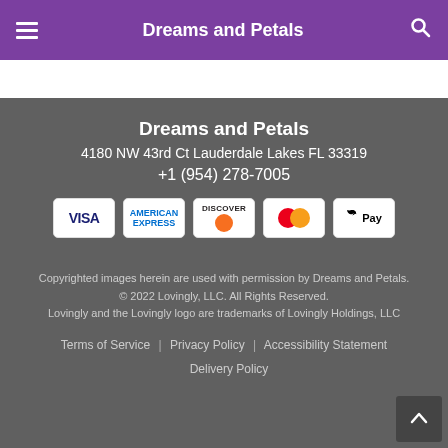Dreams and Petals
Same Day Delivery ends in: 04:43:37
Dreams and Petals
4180 NW 43rd Ct Lauderdale Lakes FL 33319
+1 (954) 278-7005
[Figure (other): Payment method icons: Visa, American Express, Discover, Mastercard, Apple Pay]
Copyrighted images herein are used with permission by Dreams and Petals.
© 2022 Lovingly, LLC. All Rights Reserved.
Lovingly and the Lovingly logo are trademarks of Lovingly Holdings, LLC
Terms of Service | Privacy Policy | Accessibility Statement | Delivery Policy